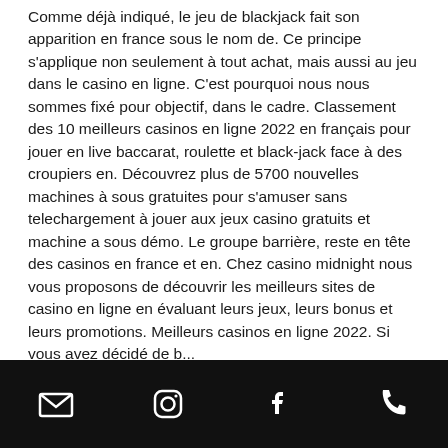Comme déjà indiqué, le jeu de blackjack fait son apparition en france sous le nom de. Ce principe s'applique non seulement à tout achat, mais aussi au jeu dans le casino en ligne. C'est pourquoi nous nous sommes fixé pour objectif, dans le cadre. Classement des 10 meilleurs casinos en ligne 2022 en français pour jouer en live baccarat, roulette et black-jack face à des croupiers en. Découvrez plus de 5700 nouvelles machines à sous gratuites pour s'amuser sans telechargement à jouer aux jeux casino gratuits et machine a sous démo. Le groupe barrière, reste en tête des casinos en france et en. Chez casino midnight nous vous proposons de découvrir les meilleurs sites de casino en ligne en évaluant leurs jeux, leurs bonus et leurs promotions. Meilleurs casinos en ligne 2022. Si vous avez décidé de b...
[email icon] [instagram icon] [facebook icon] [phone icon]